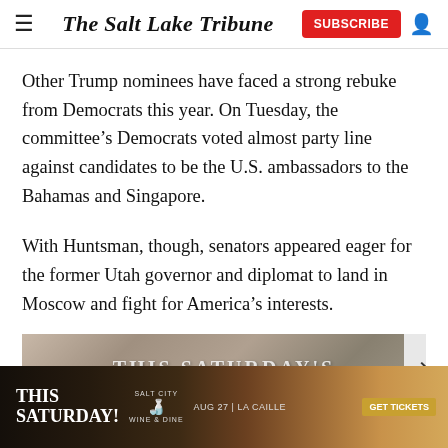The Salt Lake Tribune
Other Trump nominees have faced a strong rebuke from Democrats this year. On Tuesday, the committee's Democrats voted almost party line against candidates to be the U.S. ambassadors to the Bahamas and Singapore.
With Huntsman, though, senators appeared eager for the former Utah governor and diplomat to land in Moscow and fight for America's interests.
[Figure (photo): Partially visible advertisement banner with text 'THIS SATURDAY' overlay]
[Figure (photo): Bottom advertisement banner: THIS SATURDAY! Salt City Wine & Dine, AUG 27 | LA CAILLE, GET TICKETS]